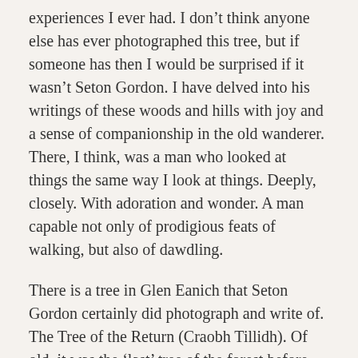experiences I ever had. I don't think anyone else has ever photographed this tree, but if someone has then I would be surprised if it wasn't Seton Gordon. I have delved into his writings of these woods and hills with joy and a sense of companionship in the old wanderer. There, I think, was a man who looked at things the same way I look at things. Deeply, closely. With adoration and wonder. A man capable not only of prodigious feats of walking, but also of dawdling.
There is a tree in Glen Eanich that Seton Gordon certainly did photograph and write of. The Tree of the Return (Craobh Tillidh). Of old, it was the 'last' tree of the forest before the woods gave way to the bare hillside moors of the glen. In the days when cattle were driven up to spend the summer on higher ground, the herdsfolk would walk with them as far as